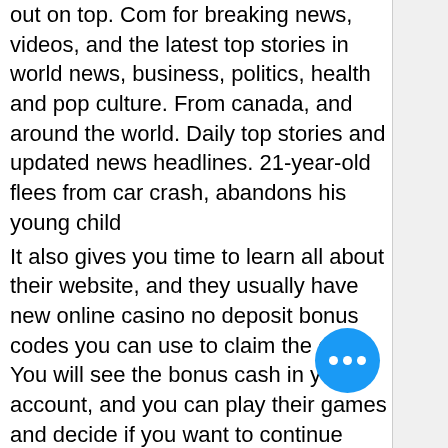out on top. Com for breaking news, videos, and the latest top stories in world news, business, politics, health and pop culture. From canada, and around the world. Daily top stories and updated news headlines. 21-year-old flees from car crash, abandons his young child
It also gives you time to learn all about their website, and they usually have new online casino no deposit bonus codes you can use to claim the offer. You will see the bonus cash in your account, and you can play their games and decide if you want to continue playing there. You will know more about the online casino features, best bitcoin slot car for 5 year old. For instance, you will find out if their website is optimized for your mobile, and you will know which games are available. In addition, you are given enough spins to learn about their games.
Bitcoin casino winners: